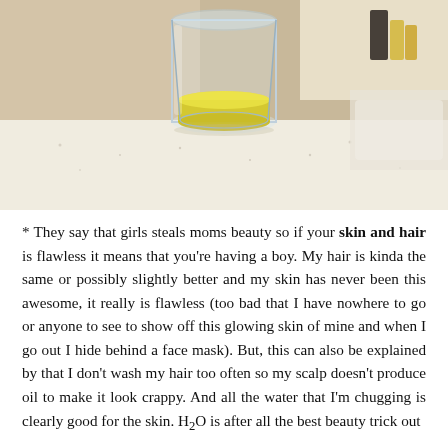[Figure (photo): A clear glass containing yellow liquid (lemon water or similar drink) sitting on a white speckled countertop in a bathroom setting. Bathroom fixtures and bottles are visible in the background.]
* They say that girls steals moms beauty so if your skin and hair is flawless it means that you're having a boy. My hair is kinda the same or possibly slightly better and my skin has never been this awesome, it really is flawless (too bad that I have nowhere to go or anyone to see to show off this glowing skin of mine and when I go out I hide behind a face mask). But, this can also be explained by that I don't wash my hair too often so my scalp doesn't produce oil to make it look crappy. And all the water that I'm chugging is clearly good for the skin. H2O is after all the best beauty trick out